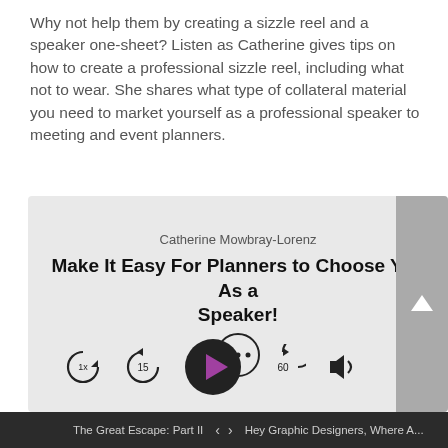Why not help them by creating a sizzle reel and a speaker one-sheet? Listen as Catherine gives tips on how to create a professional sizzle reel, including what not to wear. She shares what type of collateral material you need to market yourself as a professional speaker to meeting and event planners.
[Figure (screenshot): Audio player widget with title 'Make It Easy For Planners to Choose You As a Speaker!' by Catherine Mowbray-Lorenz, with playback controls including speed (1x), rewind 15s, play button, fast-forward 60s, and volume controls.]
The Great Escape: Part II   <   >   Hey Graphic Designers, Where A...